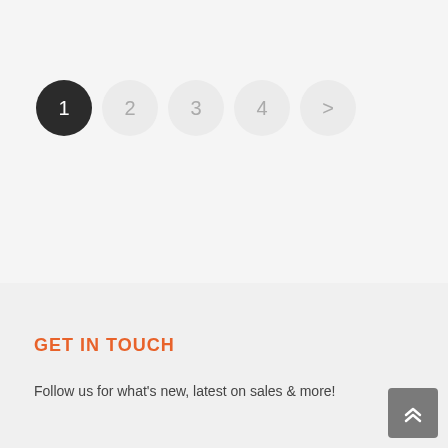[Figure (other): Pagination navigation with circles numbered 1 (active/dark), 2, 3, 4, and a > arrow button]
GET IN TOUCH
Follow us for what's new, latest on sales & more!
[Figure (other): Scroll to top button with double chevron up arrow]